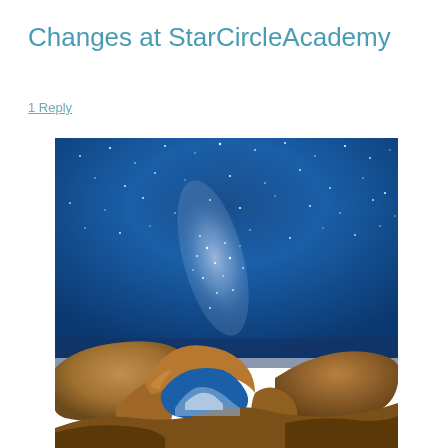Changes at StarCircleAcademy
1 Reply
[Figure (photo): Night sky photograph with Milky Way visible over a rocky stone arch formation (Mobius Arch), deep blue starry sky above and warm sandstone rock arch in the foreground with snow-capped mountains visible through the arch opening.]